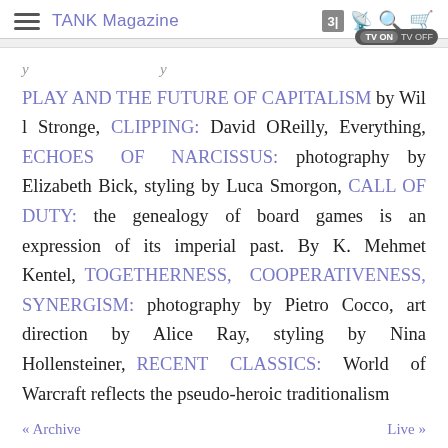TANK Magazine
PLAY AND THE FUTURE OF CAPITALISM by Will Stronge, CLIPPING: David OReilly, Everything, ECHOES OF NARCISSUS: photography by Elizabeth Bick, styling by Luca Smorgon, CALL OF DUTY: the genealogy of board games is an expression of its imperial past. By K. Mehmet Kentel, TOGETHERNESS, COOPERATIVENESS, SYNERGISM: photography by Pietro Cocco, art direction by Alice Ray, styling by Nina Hollensteiner, RECENT CLASSICS: World of Warcraft reflects the pseudo-heroic traditionalism
« Archive    Live »